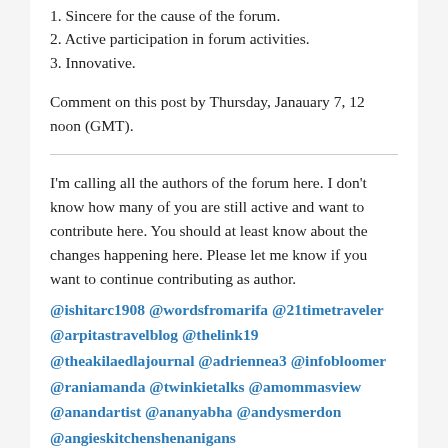1. Sincere for the cause of the forum.
2. Active participation in forum activities.
3. Innovative.
Comment on this post by Thursday, Janauary 7, 12 noon (GMT).
I'm calling all the authors of the forum here. I don't know how many of you are still active and want to contribute here. You should at least know about the changes happening here. Please let me know if you want to continue contributing as author.
@ishitarc1908 @wordsfromarifa @21timetraveler @arpitastravelblog @thelink19 @theakilaedlajournal @adriennea3 @infobloomer @raniamanda @twinkietalks @amommasview @anandartist @ananyabha @andysmerdon @angieskitchenshenanigans @annfishervirtualworld @agord2015 @anushababbar @anwyn84 @janimey @jaipurthrumylens @ashishvision